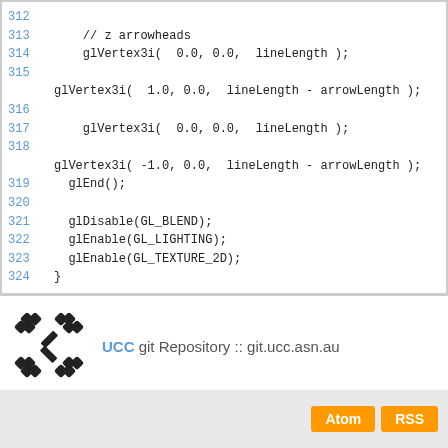312
313     // z arrowheads
314     glVertex3i(  0.0, 0.0,  lineLength );
315
    glVertex3i(  1.0, 0.0,  lineLength - arrowLength );
316
317     glVertex3i(  0.0, 0.0,  lineLength );
318
    glVertex3i( -1.0, 0.0,  lineLength - arrowLength );
319     glEnd();
320
321     glDisable(GL_BLEND);
322     glEnable(GL_LIGHTING);
323     glEnable(GL_TEXTURE_2D);
324 }
[Figure (logo): UCC logo — stylized chain-link / gear pattern in black and white]
UCC git Repository :: git.ucc.asn.au
Atom  RSS